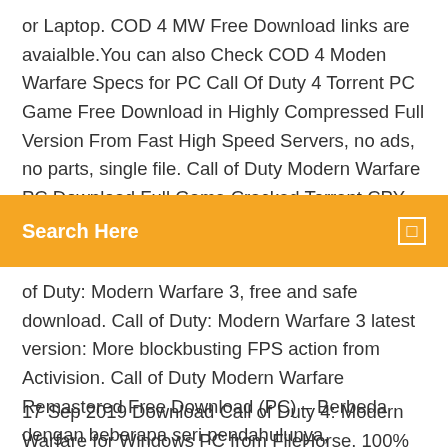or Laptop. COD 4 MW Free Download links are avaialble.You can also Check COD 4 Moden Warfare Specs for PC Call Of Duty 4 Torrent PC Game Free Download in Highly Compressed Full Version From Fast High Speed Servers, no ads, no parts, single file. Call of Duty Modern Warfare PC Download Full Game Cracked Torrent CPY Skidrow fitgirl repack The stakes have
[Figure (other): Orange search bar with 'Search Here' placeholder text and a search icon on the right]
of Duty: Modern Warfare 3, free and safe download. Call of Duty: Modern Warfare 3 latest version: More blockbusting FPS action from Activision. Call of Duty Modern Warfare Remastered Free Download (PC) – Berbeda dengan beberapa seri pendahulunya, peperangan pada game ini menggunakan latar belakang era modern.
17 Sep 2019 Download Call of Duty 4: Modern Warfare for Windows PC from FileHorse. 100% Safe and Secure ✓ Free Download (32bit/64bit) Latest Version 2019 The stakes have